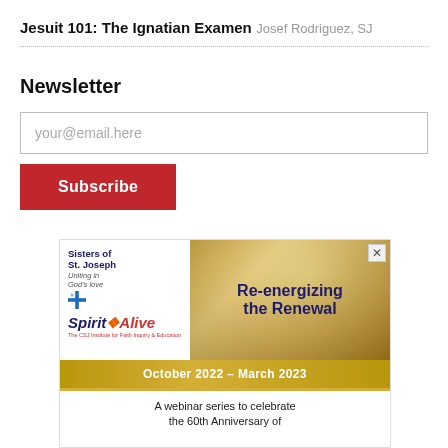Jesuit 101: The Ignatian Examen
Josef Rodriguez, SJ
Newsletter
your@email.here
Subscribe
[Figure (infographic): Advertisement for Sisters of St. Joseph Spirit Alive webinar series 'Re-energizing the Renewal', October 2022 - March 2023. A webinar series to celebrate the 60th Anniversary of...]